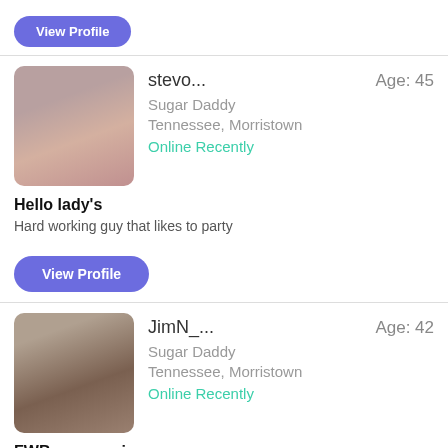[Figure (photo): View Profile button at top of page]
[Figure (photo): Blurred profile photo of stevo..., male, shirtless]
stevo...
Age: 45
Sugar Daddy
Tennessee, Morristown
Online Recently
Hello lady's
Hard working guy that likes to party
[Figure (photo): View Profile button]
[Figure (photo): Blurred profile photo of JimN_..., male]
JimN_...
Age: 42
Sugar Daddy
Tennessee, Morristown
Online Recently
FWB or move in
My time and open mindedness.